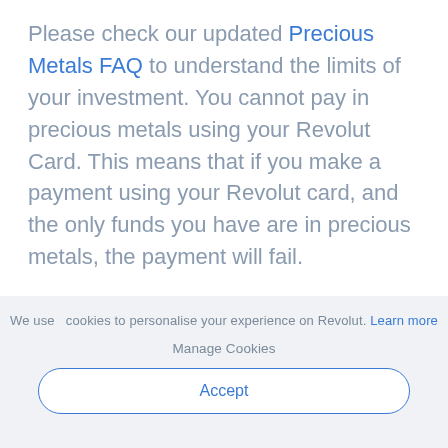Please check our updated Precious Metals FAQ to understand the limits of your investment. You cannot pay in precious metals using your Revolut Card. This means that if you make a payment using your Revolut card, and the only funds you have are in precious metals, the payment will fail.
So what are you waiting for? Head over to the
We use cookies to personalise your experience on Revolut. Learn more
Manage Cookies
Accept